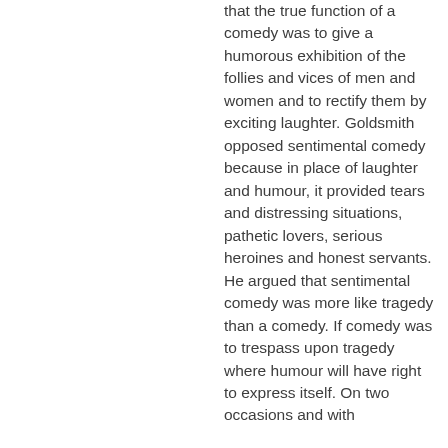that the true function of a comedy was to give a humorous exhibition of the follies and vices of men and women and to rectify them by exciting laughter. Goldsmith opposed sentimental comedy because in place of laughter and humour, it provided tears and distressing situations, pathetic lovers, serious heroines and honest servants. He argued that sentimental comedy was more like tragedy than a comedy. If comedy was to trespass upon tragedy where humour will have right to express itself. On two occasions and with